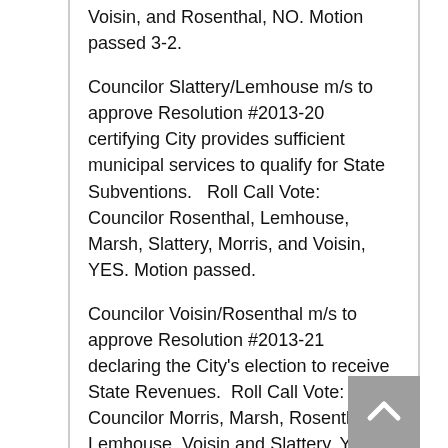Voisin, and Rosenthal, NO. Motion passed 3-2.
Councilor Slattery/Lemhouse m/s to approve Resolution #2013-20 certifying City provides sufficient municipal services to qualify for State Subventions.   Roll Call Vote: Councilor Rosenthal, Lemhouse, Marsh, Slattery, Morris, and Voisin, YES. Motion passed.
Councilor Voisin/Rosenthal m/s to approve Resolution #2013-21 declaring the City's election to receive State Revenues.  Roll Call Vote: Councilor Morris, Marsh, Rosenthal, Lemhouse, Voisin and Slattery, YES. Motion passed.
Councilor Morris/Lemhouse m/s to approve Ordinance #3083. Roll Call Vote: Councilor Marsh, Lemhouse, Slattery, Morris, Voisin, and Rosenthal, YES. Motion passed.